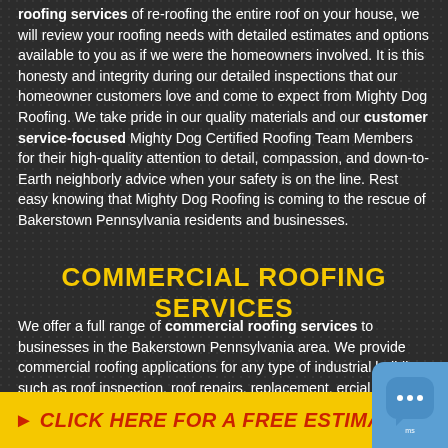roofing services of re-roofing the entire roof on your house, we will review your roofing needs with detailed estimates and options available to you as if we were the homeowners involved. It is this honesty and integrity during our detailed inspections that our homeowner customers love and come to expect from Mighty Dog Roofing. We take pride in our quality materials and our customer service-focused Mighty Dog Certified Roofing Team Members for their high-quality attention to detail, compassion, and down-to-Earth neighborly advice when your safety is on the line. Rest easy knowing that Mighty Dog Roofing is coming to the rescue of Bakerstown Pennsylvania residents and businesses.
COMMERCIAL ROOFING SERVICES
We offer a full range of commercial roofing services to businesses in the Bakerstown Pennsylvania area. We provide commercial roofing applications for any type of industrial building, such as roof inspection, roof repairs, replacement, ercial ro oofing projects no
[Figure (infographic): Yellow CTA banner with red italic bold text: CLICK HERE FOR A FREE ESTIMATE! with a red play/arrow triangle on the left]